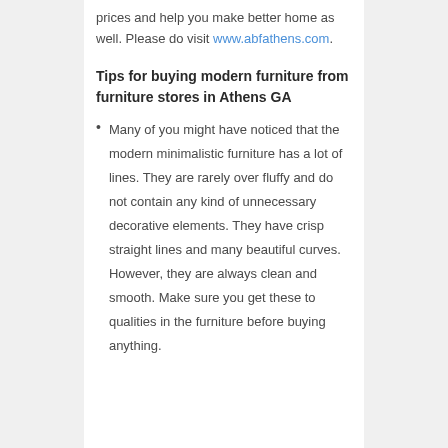prices and help you make better home as well. Please do visit www.abfathens.com.
Tips for buying modern furniture from furniture stores in Athens GA
Many of you might have noticed that the modern minimalistic furniture has a lot of lines. They are rarely over fluffy and do not contain any kind of unnecessary decorative elements. They have crisp straight lines and many beautiful curves. However, they are always clean and smooth. Make sure you get these to qualities in the furniture before buying anything.